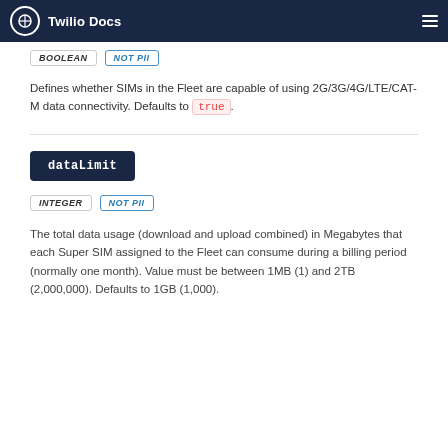Twilio Docs
INTEGER  NOT PII (top section, clipped)
Defines whether SIMs in the Fleet are capable of using 2G/3G/4G/LTE/CAT-M data connectivity. Defaults to true.
dataLimit
INTEGER  NOT PII
The total data usage (download and upload combined) in Megabytes that each Super SIM assigned to the Fleet can consume during a billing period (normally one month). Value must be between 1MB (1) and 2TB (2,000,000). Defaults to 1GB (1,000).